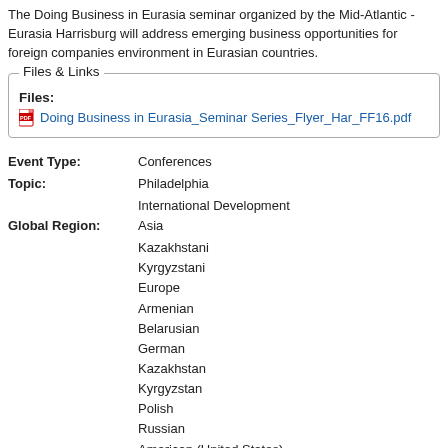The Doing Business in Eurasia seminar organized by the Mid-Atlantic - Eurasia Harrisburg will address emerging business opportunities for foreign companies environment in Eurasian countries.
Files & Links
Files:
Doing Business in Eurasia_Seminar Series_Flyer_Har_FF16.pdf
Event Type:  Conferences
Topic:  Philadelphia
International Development
Global Region:  Asia
Kazakhstani
Kyrgyzstani
Europe
Armenian
Belarusian
German
Kazakhstan
Kyrgyzstan
Polish
Russian
American (United States)